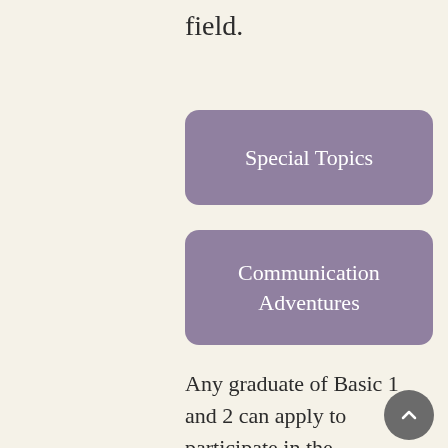field.
[Figure (other): Purple rounded rectangle button labeled 'Special Topics']
[Figure (other): Purple rounded rectangle button labeled 'Communication Adventures']
Any graduate of Basic 1 and 2 can apply to participate in the Advanced Program, and it is not necessary that you want